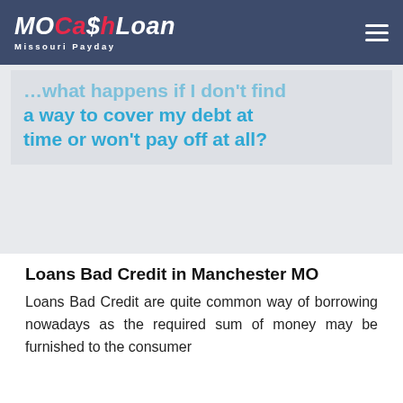MOCashLoan Missouri Payday
…what happens if I don't find a way to cover my debt at time or won't pay off at all?
Loans Bad Credit in Manchester MO
Loans Bad Credit are quite common way of borrowing nowadays as the required sum of money may be furnished to the consumer